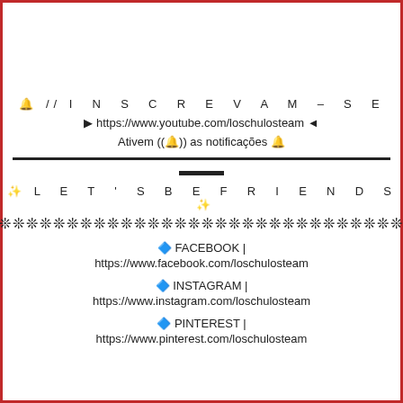🔔 // I N S C R E V A M – S E
▶ https://www.youtube.com/loschulosteam ◀
Ativem ((🔔)) as notificações 🔔
✨ L E T ' S B E F R I E N D S ✨
❊❊❊❊❊❊❊❊❊❊❊❊❊❊❊❊❊❊❊❊❊❊❊❊❊❊❊❊❊❊
🔷 FACEBOOK |
https://www.facebook.com/loschulosteam
🔷 INSTAGRAM |
https://www.instagram.com/loschulosteam
🔷 PINTEREST |
https://www.pinterest.com/loschulosteam